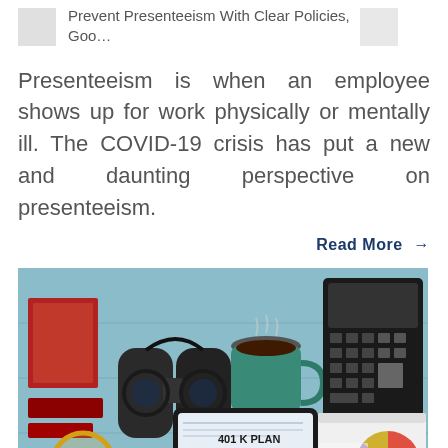Prevent Presenteeism With Clear Policies, Goo...
Presenteeism is when an employee shows up for work physically or mentally ill. The COVID-19 crisis has put a new and daunting perspective on presenteeism.
Read More →
[Figure (photo): Overhead desk photo showing binoculars, coffee cup, tablet displaying '401 K PLAN', red books, magnifying glass, calculator, pie chart, and bar chart on a light blue surface.]
April 20, 2022